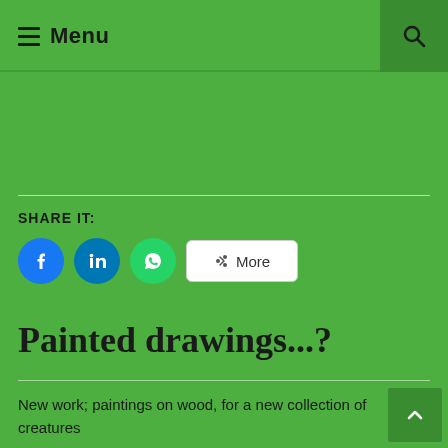☰ Menu
SHARE IT:
[Figure (other): Social share buttons: Facebook, LinkedIn, WhatsApp, and More]
Painted drawings...?
New work; paintings on wood, for a new collection of creatures